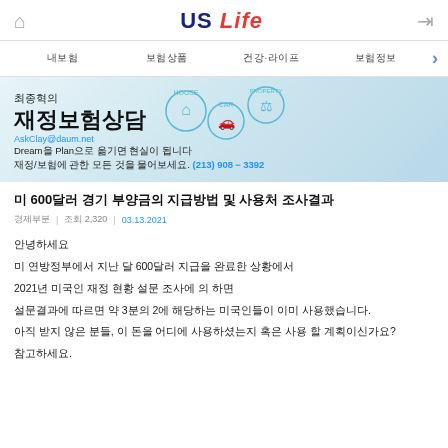US Life
내보험 | 보험상품 | 건강·라이프 | 보험정보 >
[Figure (photo): Banner advertisement for 최종혁의 재정보험상담 showing a house, car, property icons, a piggy bank, and a man in a suit. Contact: AskClay@daum.net, Dream을 Plan으로 옮기면 현실이 됩니다. 재정/보험에 관한 모든 것을 물어보세요. (213) 908-3392]
미 600달러 경기 부양금의 지급방법 및 사용처 조사결과
경제부분 | 조회 2,320 | 03.13.2021
안녕하세요
미 연방정부에서 지난 달 600달러 지급을 완료한 상황에서

2021년 미국인 재정 현황 설문 조사에 의 하면
설문결과에 따르면 약 3분의 2에 해당하는 미국인들이 이미 사용했습니다.

아직 받지 않은 분들, 이 돈을 어디에 사용하셨는지 혹은 사용 할 계획이신가요?
참고하세요.